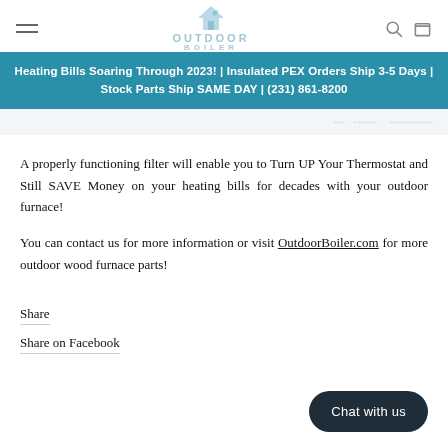OUTDOOR BOILER
Heating Bills Soaring Through 2023! | Insulated PEX Orders Ship 3-5 Days | Stock Parts Ship SAME DAY | (231) 861-8200
[Figure (screenshot): Partially visible blurred document or diagram image strip]
A properly functioning filter will enable you to Turn UP Your Thermostat and Still SAVE Money on your heating bills for decades with your outdoor furnace!
You can contact us for more information or visit OutdoorBoiler.com for more outdoor wood furnace parts!
Share
Share on Facebook
Chat with us